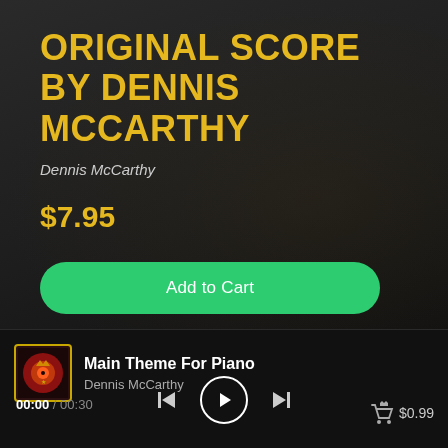ORIGINAL SCORE BY DENNIS MCCARTHY
Dennis McCarthy
$7.95
Add to Cart
Main Theme For Piano
Dennis McCarthy
00:00 / 00:30
$0.99